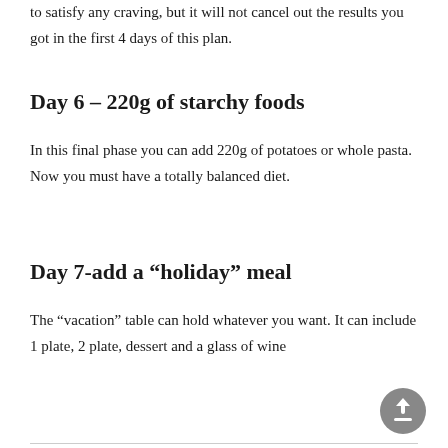to satisfy any craving, but it will not cancel out the results you got in the first 4 days of this plan.
Day 6 – 220g of starchy foods
In this final phase you can add 220g of potatoes or whole pasta. Now you must have a totally balanced diet.
Day 7-add a “holiday” meal
The “vacation” table can hold whatever you want. It can include 1 plate, 2 plate, dessert and a glass of wine